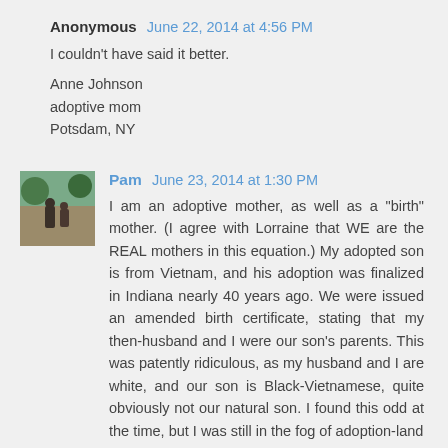Anonymous  June 22, 2014 at 4:56 PM
I couldn't have said it better.

Anne Johnson
adoptive mom
Potsdam, NY
[Figure (photo): Small avatar photo of a person outdoors]
Pam  June 23, 2014 at 1:30 PM
I am an adoptive mother, as well as a "birth" mother. (I agree with Lorraine that WE are the REAL mothers in this equation.) My adopted son is from Vietnam, and his adoption was finalized in Indiana nearly 40 years ago. We were issued an amended birth certificate, stating that my then-husband and I were our son's parents. This was patently ridiculous, as my husband and I are white, and our son is Black-Vietnamese, quite obviously not our natural son. I found this odd at the time, but I was still in the fog of adoption-land